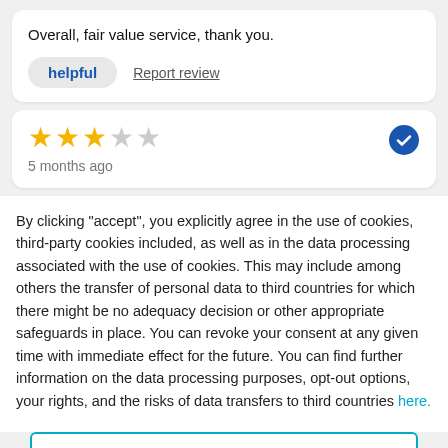Overall, fair value service, thank you.
helpful   Report review
[Figure (other): 3 filled yellow stars and 2 empty grey stars rating, with a blue verified checkmark badge on the right]
5 months ago
By clicking "accept", you explicitly agree in the use of cookies, third-party cookies included, as well as in the data processing associated with the use of cookies. This may include among others the transfer of personal data to third countries for which there might be no adequacy decision or other appropriate safeguards in place. You can revoke your consent at any given time with immediate effect for the future. You can find further information on the data processing purposes, opt-out options, your rights, and the risks of data transfers to third countries here.
ACCEPT